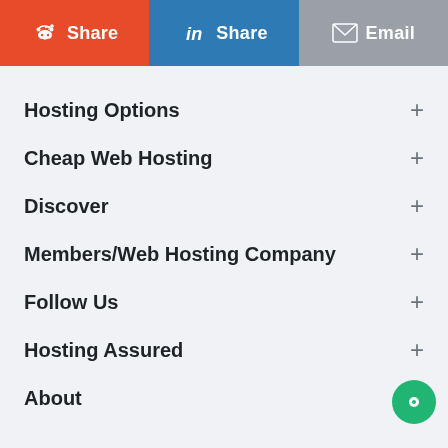[Figure (other): Social share buttons row: Reddit Share (orange), LinkedIn Share (blue), Email (grey)]
Hosting Options
Cheap Web Hosting
Discover
Members/Web Hosting Company
Follow Us
Hosting Assured
About
$ USD ▲   🌐 ▲
Copyright © 2022 TheWebHostingDir.com all rights reserved